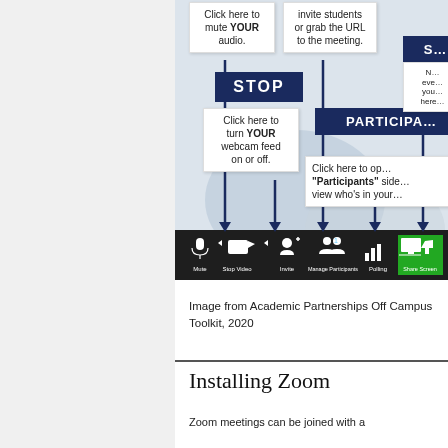[Figure (screenshot): Cropped screenshot of Zoom meeting interface showing annotated toolbar buttons with callout boxes: 'Click here to mute YOUR audio.', 'Click here to turn YOUR webcam feed on or off.', 'STOP', 'invite students or grab the URL to the meeting.', 'PARTICIPA...' (Participants), 'Click here to open Participants side... view who's in your...' with dark navy arrows pointing to Zoom toolbar buttons (Mute, Stop Video, Invite, Manage Participants, Polling, Share Screen).]
Image from Academic Partnerships Off Campus Toolkit, 2020
Installing Zoom
Zoom meetings can be joined with a